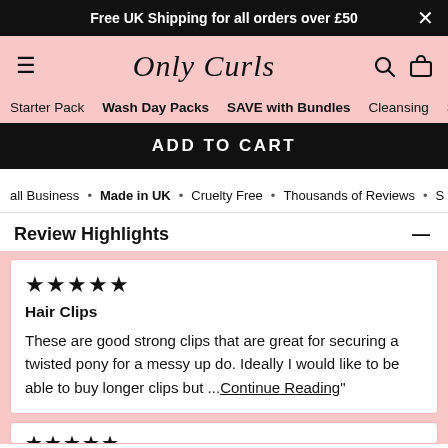Free UK Shipping for all orders over £50
[Figure (logo): Only Curls brand logo with hamburger menu, search icon, and cart icon on pink background]
Starter Pack  Wash Day Packs  SAVE with Bundles  Cleansing  Styling  Fra
ADD TO CART
all Business • Made in UK • Cruelty Free • Thousands of Reviews • S
Review Highlights
★★★★★
Hair Clips
These are good strong clips that are great for securing a twisted pony for a messy up do. Ideally I would like to be able to buy longer clips but ...Continue Reading"